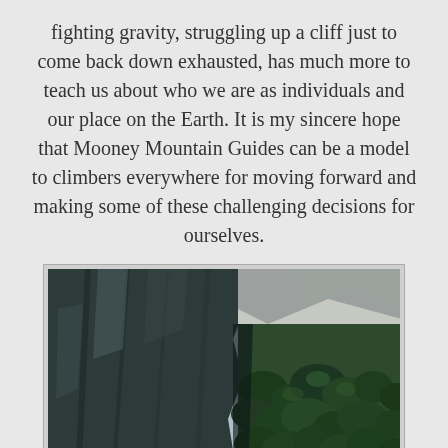fighting gravity, struggling up a cliff just to come back down exhausted, has much more to teach us about who we are as individuals and our place on the Earth. It is my sincere hope that Mooney Mountain Guides can be a model to climbers everywhere for moving forward and making some of these challenging decisions for ourselves.
[Figure (photo): Aerial or high-angle photograph of a steep granite cliff face on the left side, with a dense green forest valley visible far below on the right side, viewed from a great height.]